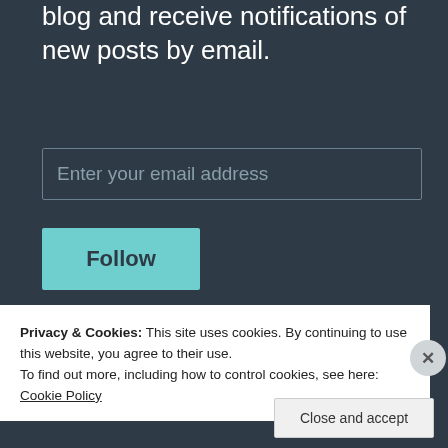blog and receive notifications of new posts by email.
Enter your email address
Follow
RECENT POSTS: LIFEUNDERWRITER.NET
Privacy & Cookies: This site uses cookies. By continuing to use this website, you agree to their use.
To find out more, including how to control cookies, see here: Cookie Policy
Close and accept